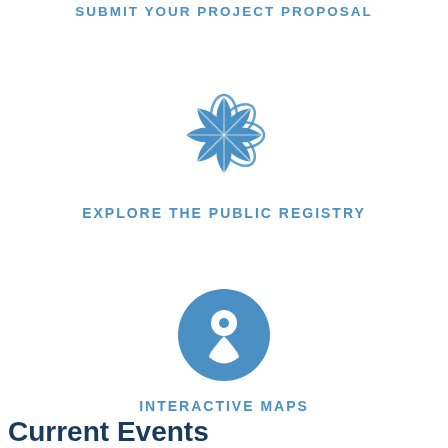SUBMIT YOUR PROJECT PROPOSAL
[Figure (logo): Blue decorative circular star/flower logo icon for public registry]
EXPLORE THE PUBLIC REGISTRY
[Figure (logo): Blue circle with white map pin/location marker icon for interactive maps]
INTERACTIVE MAPS
Current Events